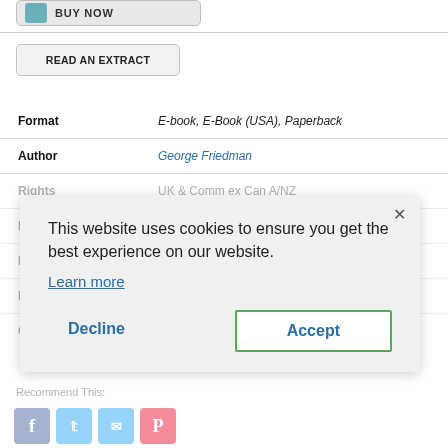[Figure (screenshot): BUY NOW button with teal cart icon]
READ AN EXTRACT
| Field | Value |
| --- | --- |
| Format | E-book, E-Book (USA), Paperback |
| Author | George Friedman |
| Rights | UK & Comm ex Can A/NZ |
| ISBN | 9780749007430 |
| Pages |  |
| Publication Date | 15th January 2010 |
| Category | Fiction |
This website uses cookies to ensure you get the best experience on our website.
Learn more
Decline
Accept
Recommend This:
[Figure (screenshot): Social share icons: Facebook, Twitter, Email, Pinterest]